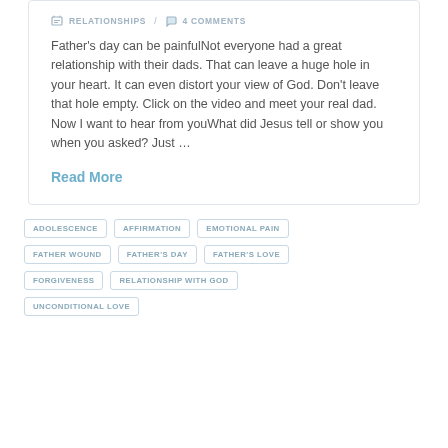RELATIONSHIPS / 4 COMMENTS
Father's day can be painfulNot everyone had a great relationship with their dads. That can leave a huge hole in your heart. It can even distort your view of God. Don't leave that hole empty. Click on the video and meet your real dad. Now I want to hear from youWhat did Jesus tell or show you when you asked? Just ...
Read More
ADOLESCENCE
AFFIRMATION
EMOTIONAL PAIN
FATHER WOUND
FATHER'S DAY
FATHER'S LOVE
FORGIVENESS
RELATIONSHIP WITH GOD
UNCONDITIONAL LOVE